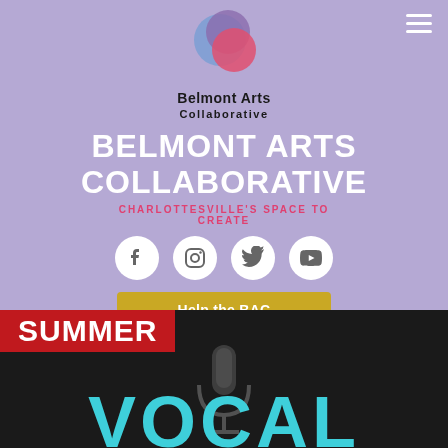[Figure (logo): Belmont Arts Collaborative logo with overlapping colored circles (blue, purple, pink/red) forming a flower pattern]
BELMONT ARTS COLLABORATIVE
CHARLOTTESVILLE'S SPACE TO CREATE
[Figure (infographic): Social media icons: Facebook, Instagram, Twitter, YouTube - white circles on lavender background]
Help the BAC
[Figure (photo): Dark background image with red SUMMER banner text and teal VOCAL text, microphone visible in center]